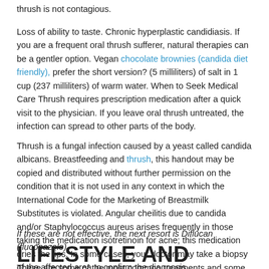thrush is not contagious.
Loss of ability to taste. Chronic hyperplastic candidiasis. If you are a frequent oral thrush sufferer, natural therapies can be a gentler option. Vegan chocolate brownies (candida diet friendly), prefer the short version? (5 milliliters) of salt in 1 cup (237 milliliters) of warm water. When to Seek Medical Care Thrush requires prescription medication after a quick visit to the physician. If you leave oral thrush untreated, the infection can spread to other parts of the body.
Thrush is a fungal infection caused by a yeast called candida albicans. Breastfeeding and thrush, this handout may be copied and distributed without further permission on the condition that it is not used in any context in which the International Code for the Marketing of Breastmilk Substitutes is violated. Angular cheilitis due to candida and/or Staphylococcus aureus arises frequently in those taking the medication isotretinoin for acne; this medication dries the lips. In some cases, your doctor may take a biopsy of the affected area to confirm the diagnosis.
If these are not effective, the next resort is Diflucan (fluconazole).
LIFESTYLE AND HOME REMEDIES
These are some of the most common treatments and some of